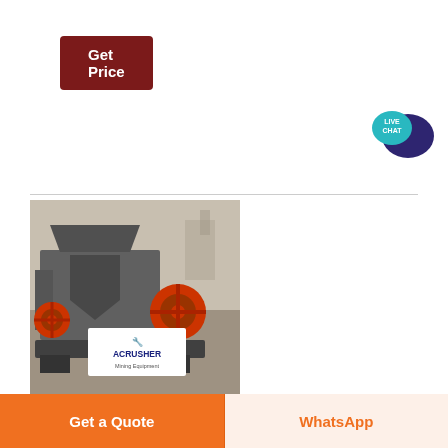[Figure (other): Dark red 'Get Price' button]
[Figure (illustration): Live Chat speech bubble icon in teal and dark blue]
[Figure (photo): Photo of an ACRUSHER Mining Equipment jaw crusher machine outdoors]
Crushed Oil-Infused Gloss | Bobbi Brown Cosmetics
Hydrating, non-sticky gloss. Ingredients:
Hydrogenated Polyisobutene, Polybutene, Pentaerythrityl Tetraisostearate, Ethylene/Propylene/Styrene Copolymer, C12-15 Alkyl Benzoate, Olea Europaea (Olive) Fruit Oil, Prunus Armeniaca (Apricot) Kernel Oil, Tocopheryl
[Figure (other): Orange 'Get a Quote' button]
[Figure (other): Light orange 'WhatsApp' button]